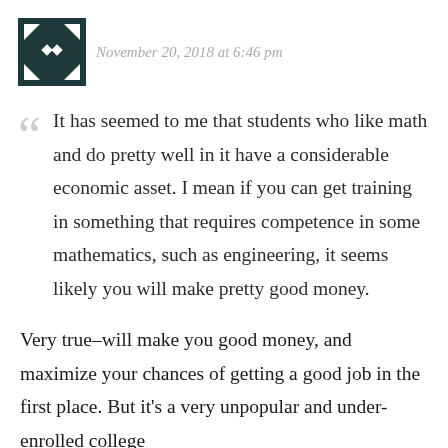November 20, 2018 at 6:46 pm
It has seemed to me that students who like math and do pretty well in it have a considerable economic asset. I mean if you can get training in something that requires competence in some mathematics, such as engineering, it seems likely you will make pretty good money.
Very true–will make you good money, and maximize your chances of getting a good job in the first place. But it's a very unpopular and under-enrolled college